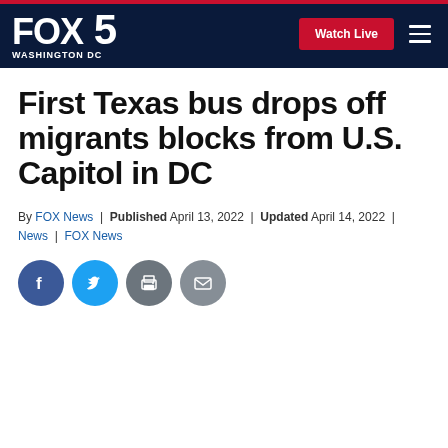FOX 5 WASHINGTON DC | Watch Live
First Texas bus drops off migrants blocks from U.S. Capitol in DC
By FOX News | Published April 13, 2022 | Updated April 14, 2022 | News | FOX News
[Figure (other): Social sharing icons: Facebook, Twitter, Print, Email]